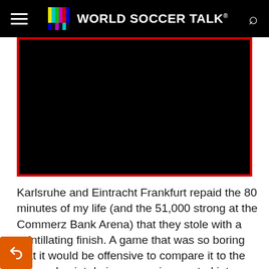World Soccer Talk
[Figure (screenshot): Black video player embedded in a red-bordered frame]
Karlsruhe and Eintracht Frankfurt repaid the 80 minutes of my life (and the 51,000 strong at the Commerz Bank Arena) that they stole with a scintillating finish. A game that was so boring that it would be offensive to compare it to the oft-used paint drying scenario, erupted into a comedy of blunders in the 80'. But at least a comedy is entertaining, unlike the majority of the game, where